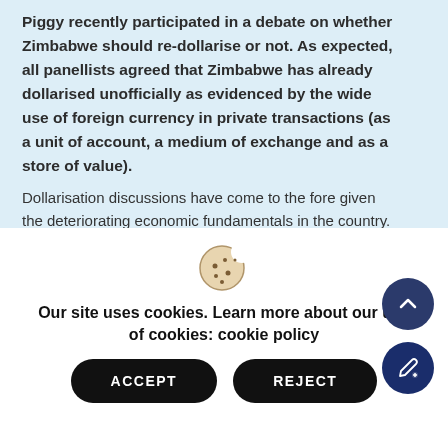Piggy recently participated in a debate on whether Zimbabwe should re-dollarise or not. As expected, all panellists agreed that Zimbabwe has already dollarised unofficially as evidenced by the wide use of foreign currency in private transactions (as a unit of account, a medium of exchange and as a store of value).
Dollarisation discussions have come to the fore given the deteriorating economic fundamentals in the country. Inflation is on the top of the list and there is need to bring about macro-economic stability. Bleak expectations on GDP growth have also set a flow of dreadful economic
[Figure (illustration): Cookie icon — a round cookie with bite taken out, showing chocolate chip dots]
Our site uses cookies. Learn more about our use of cookies: cookie policy
ACCEPT
REJECT